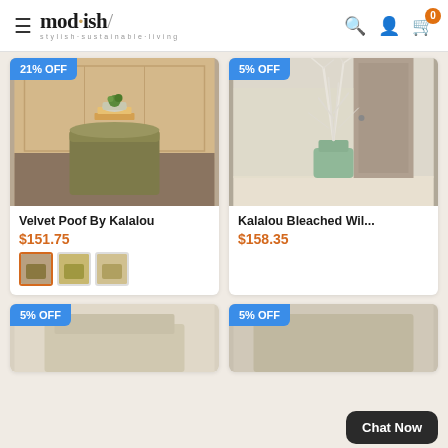mod·ish/ stylish·sustainable·living
[Figure (screenshot): E-commerce product listing page for mod·ish showing Velvet Poof By Kalalou at $151.75 (21% OFF) and Kalalou Bleached Wil... at $158.35 (5% OFF), with partial bottom row showing two more products at 5% OFF, and a Chat Now button]
Velvet Poof By Kalalou
$151.75
Kalalou Bleached Wil...
$158.35